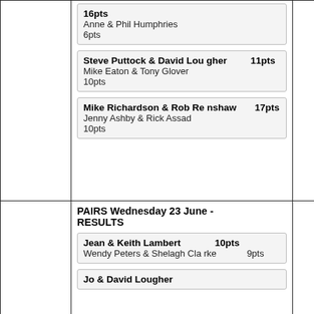16pts
Anne & Phil Humphries
6pts
Steve Puttock & David Lougher 11pts
Mike Eaton & Tony Glover
10pts
Mike Richardson & Rob Renshaw 17pts
Jenny Ashby & Rick Assad
10pts
PAIRS Wednesday 23 June - RESULTS
Jean & Keith Lambert 10pts
Wendy Peters & Shelagh Clarke 9pts
Jo & David Lougher